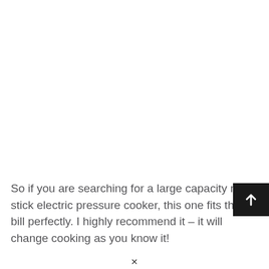So if you are searching for a large capacity non stick electric pressure cooker, this one fits the bill perfectly. I highly recommend it – it will change cooking as you know it!